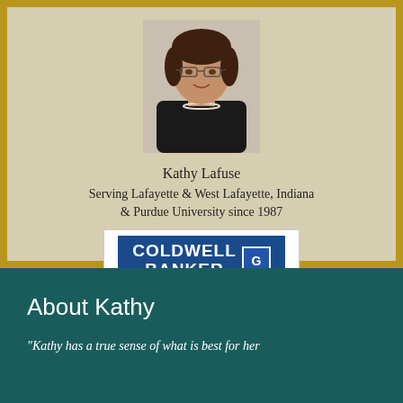[Figure (photo): Professional headshot of Kathy Lafuse, a woman with short brown hair and glasses, wearing a black top and pearl necklace, against a neutral background.]
Kathy Lafuse
Serving Lafayette & West Lafayette, Indiana & Purdue University since 1987
[Figure (logo): Coldwell Banker Shook logo: blue rectangular banner with white bold text reading COLDWELL BANKER with a CB logo mark, and SHOOK in large black letters below.]
About Kathy
"Kathy has a true sense of what is best for her